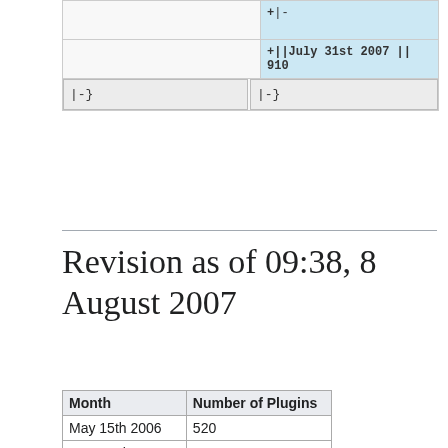+|-
+||July 31st 2007 || 910
|-}
|-}
Revision as of 09:38, 8 August 2007
| Month | Number of Plugins |
| --- | --- |
| May 15th 2006 | 520 |
| June 30th 2006 | 581 |
| July 28th 2006 | 599 |
| Aug 31st 2006 | 625 |
| Sep 30th 2006 | 650 |
| Oct 31th 2006 | 670 |
| Nov 30th 2006 | 712 |
| Dec 31st 2006 | 750 |
| Jan 31st 2007 | 788 |
| Feb 28th 2007 | 813 |
| March 31st 2007 | 834 |